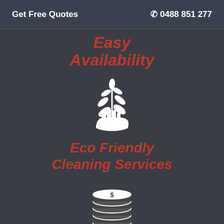Get Free Quotes   ☎ 0488 851 277
Easy Availability
[Figure (illustration): White icon of a hand holding a plant/leaf sprig, centered on dark background]
Eco Friendly Cleaning Services
[Figure (illustration): White icon of a stack of coins with a dollar sign on top, centered on dark background]
Cost Effective